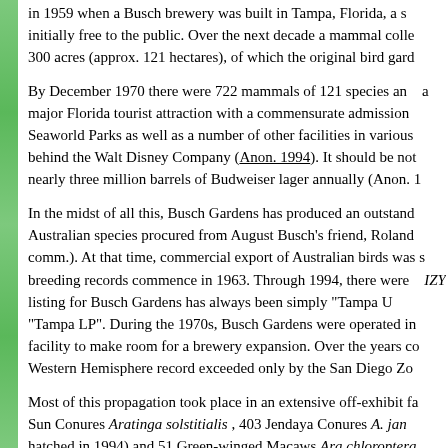in 1959 when a Busch brewery was built in Tampa, Florida, a s... initially free to the public. Over the next decade a mammal colle... 300 acres (approx. 121 hectares), of which the original bird gard...
By December 1970 there were 722 mammals of 121 species an... a major Florida tourist attraction with a commensurate admission... Seaworld Parks as well as a number of other facilities in various... behind the Walt Disney Company (Anon. 1994). It should be not... nearly three million barrels of Budweiser lager annually (Anon. 1...
In the midst of all this, Busch Gardens has produced an outstand... Australian species procured from August Busch's friend, Roland... comm.). At that time, commercial export of Australian birds was s... breeding records commence in 1963. Through 1994, there were... IZY listing for Busch Gardens has always been simply "Tampa U... "Tampa LP". During the 1970s, Busch Gardens were operated in... facility to make room for a brewery expansion. Over the years co... Western Hemisphere record exceeded only by the San Diego Zo...
Most of this propagation took place in an extensive off-exhibit fa... Sun Conures Aratinga solstitialis , 403 Jendaya Conures A. jan... hatched in 1994) and 51 Green-winged Macaws Ara chloroptera... captive-bred birds, thus reducing the demand for imported speci... these were acquired directly by breeders, becoming a major com...